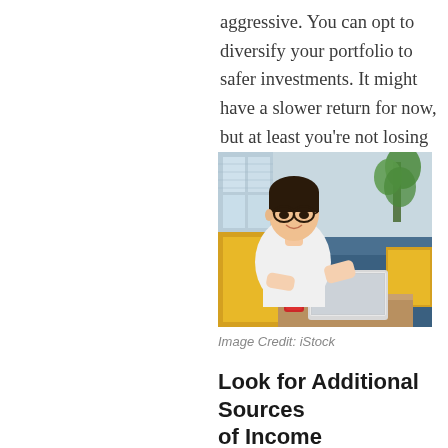aggressive. You can opt to diversify your portfolio to safer investments. It might have a slower return for now, but at least you're not losing money.
[Figure (photo): A young Asian man wearing glasses and a white t-shirt sits on a couch leaning over a laptop computer on a wooden coffee table, with a red mug nearby and yellow and blue cushions in the background.]
Image Credit: iStock
Look for Additional Sources of Income